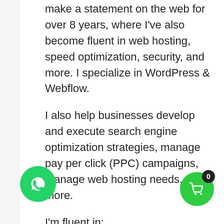make a statement on the web for over 8 years, where I've also become fluent in web hosting, speed optimization, security, and more. I specialize in WordPress & Webflow.
I also help businesses develop and execute search engine optimization strategies, manage pay per click (PPC) campaigns, manage web hosting needs, and more.
I'm fluent in:
Google Analytics
Google Ads Search Console (formerly Google Webmaster Tools)
Social Media Marketing
a problem with your WordPress site, It can be a responsiveness issue, alignment issue or some of the